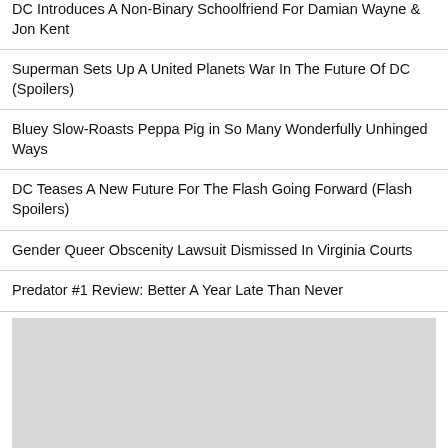DC Introduces A Non-Binary Schoolfriend For Damian Wayne & Jon Kent
Superman Sets Up A United Planets War In The Future Of DC (Spoilers)
Bluey Slow-Roasts Peppa Pig in So Many Wonderfully Unhinged Ways
DC Teases A New Future For The Flash Going Forward (Flash Spoilers)
Gender Queer Obscenity Lawsuit Dismissed In Virginia Courts
Predator #1 Review: Better A Year Late Than Never
[Figure (other): Gray placeholder image block]